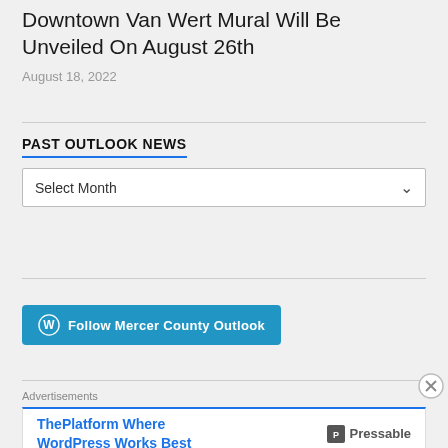Downtown Van Wert Mural Will Be Unveiled On August 26th
August 18, 2022
PAST OUTLOOK NEWS
Select Month
[Figure (other): Follow Mercer County Outlook WordPress button]
Advertisements
[Figure (other): Pressable advertisement: ThePlatform Where WordPress Works Best]